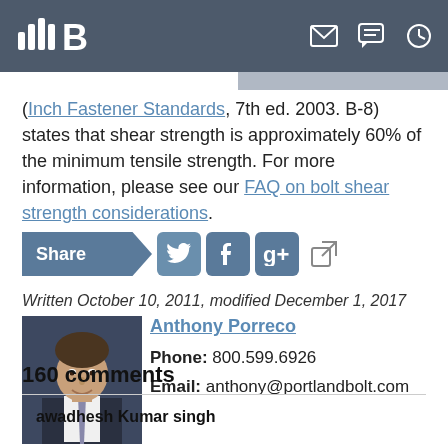Portland Bolt — navigation header
(Inch Fastener Standards, 7th ed. 2003. B-8) states that shear strength is approximately 60% of the minimum tensile strength. For more information, please see our FAQ on bolt shear strength considerations.
[Figure (infographic): Share bar with Share button, Twitter, Facebook, Google+, and external link icons]
Written October 10, 2011, modified December 1, 2017
[Figure (photo): Headshot photo of Anthony Porreco]
Anthony Porreco
Phone: 800.599.6926
Email: anthony@portlandbolt.com
160 comments
awadhesh Kumar singh